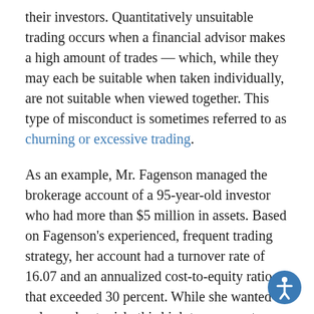their investors. Quantitatively unsuitable trading occurs when a financial advisor makes a high amount of trades — which, while they may each be suitable when taken individually, are not suitable when viewed together. This type of misconduct is sometimes referred to as churning or excessive trading.
As an example, Mr. Fagenson managed the brokerage account of a 95-year-old investor who had more than $5 million in assets. Based on Fagenson's experienced, frequent trading strategy, her account had a turnover rate of 16.07 and an annualized cost-to-equity ratio that exceeded 30 percent. While she wanted only moderate risk, this high turnover rate made very difficult for this investor to actually make gains. While working with Mr. Fagenson, her account lost more than $280,000 in value. At the same time, he took in more than $360,000 in commissions and fees.